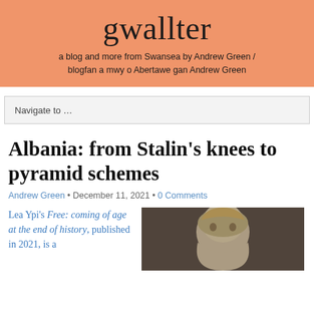gwallter
a blog and more from Swansea by Andrew Green / blogfan a mwy o Abertawe gan Andrew Green
Navigate to ...
Albania: from Stalin's knees to pyramid schemes
Andrew Green • December 11, 2021 • 0 Comments
Lea Ypi's Free: coming of age at the end of history, published in 2021, is a
[Figure (photo): A photo of a person with light blond hair, partially visible, appearing to be outdoors with dark background.]